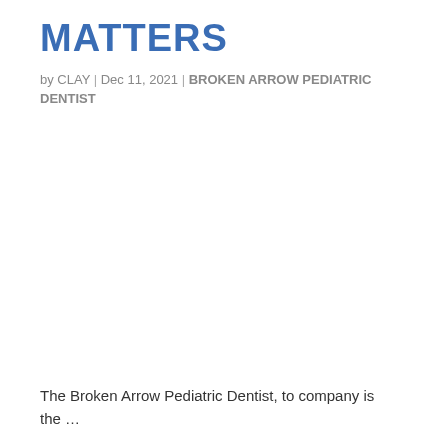MATTERS
by CLAY | Dec 11, 2021 | BROKEN ARROW PEDIATRIC DENTIST
The Broken Arrow Pediatric Dentist, to company is the …